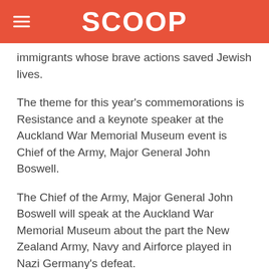SCOOP
immigrants whose brave actions saved Jewish lives.
The theme for this year's commemorations is Resistance and a keynote speaker at the Auckland War Memorial Museum event is Chief of the Army, Major General John Boswell.
The Chief of the Army, Major General John Boswell will speak at the Auckland War Memorial Museum about the part the New Zealand Army, Navy and Airforce played in Nazi Germany's defeat.